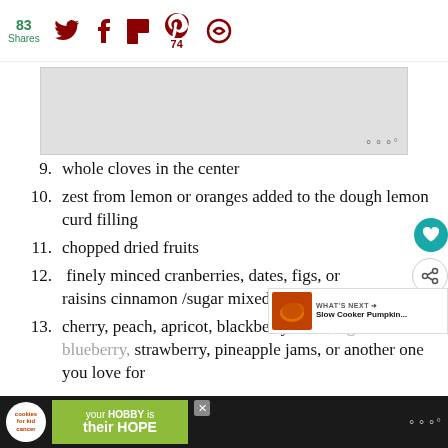83 Shares | Social share icons: Twitter, Facebook, Flipboard, Pinterest (74 saves), SMS/other
[Figure (other): Advertisement placeholder block with wm° watermark]
9. whole cloves in the center
10. zest from lemon or oranges added to the dough lemon curd filling
11. chopped dried fruits
12. finely minced cranberries, dates, figs, or raisins cinnamon /sugar mixed with nuts
13. cherry, peach, apricot, blackberry, mint, fig, blueberry, strawberry, pineapple jams, or another one you love for
Advertisement banner: cookies for kid cancer — your HOBBY is their HOPE | wm°